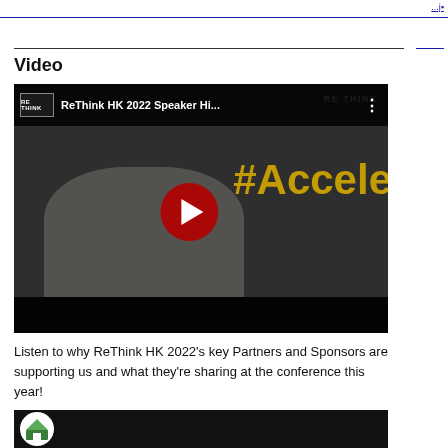Video
[Figure (screenshot): YouTube video thumbnail for 'ReThink HK 2022 Speaker Hi...' showing a man in white jacket with glasses against a dark background with '#Accele' text visible. A red play button is centered on the thumbnail.]
Listen to why ReThink HK 2022's key Partners and Sponsors are supporting us and what they're sharing at the conference this year!
[Figure (screenshot): Bottom of another video thumbnail showing a white circular logo with a house icon on a dark background.]